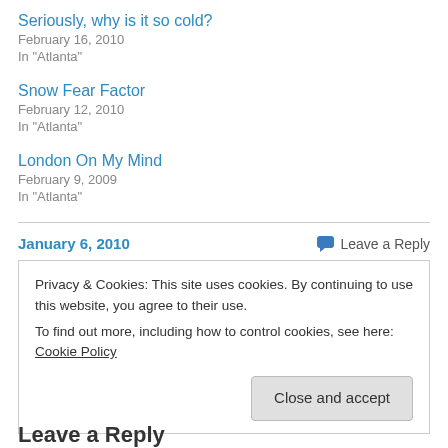Seriously, why is it so cold?
February 16, 2010
In "Atlanta"
Snow Fear Factor
February 12, 2010
In "Atlanta"
London On My Mind
February 9, 2009
In "Atlanta"
January 6, 2010
Leave a Reply
Privacy & Cookies: This site uses cookies. By continuing to use this website, you agree to their use.
To find out more, including how to control cookies, see here: Cookie Policy
Close and accept
Leave a Reply